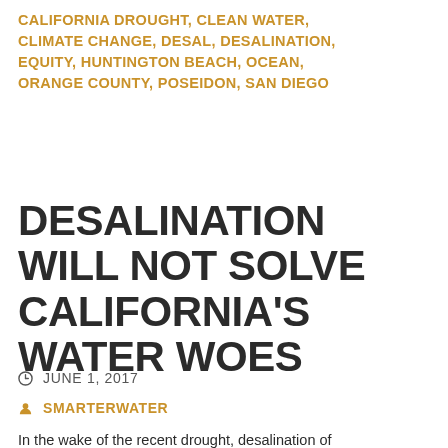CALIFORNIA DROUGHT, CLEAN WATER, CLIMATE CHANGE, DESAL, DESALINATION, EQUITY, HUNTINGTON BEACH, OCEAN, ORANGE COUNTY, POSEIDON, SAN DIEGO
DESALINATION WILL NOT SOLVE CALIFORNIA'S WATER WOES
JUNE 1, 2017
SMARTERWATER
In the wake of the recent drought, desalination of